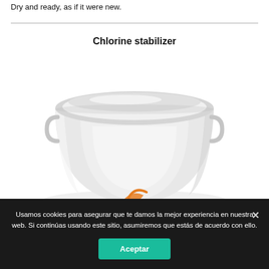Dry and ready, as if it were new.
Chlorine stabilizer
[Figure (photo): White plastic bucket/container with orange logo partially visible, photographed from above at an angle showing the lid and upper body of the container.]
Usamos cookies para asegurar que te damos la mejor experiencia en nuestra web. Si continúas usando este sitio, asumiremos que estás de acuerdo con ello.
Aceptar